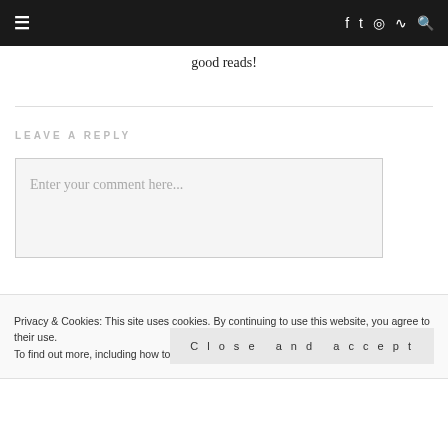☰  f  t  instagram  RSS  🔍
good reads!
LEAVE A REPLY
Enter your comment here...
Privacy & Cookies: This site uses cookies. By continuing to use this website, you agree to their use.
To find out more, including how to control cookies, see here: Cookie Policy
Close and accept